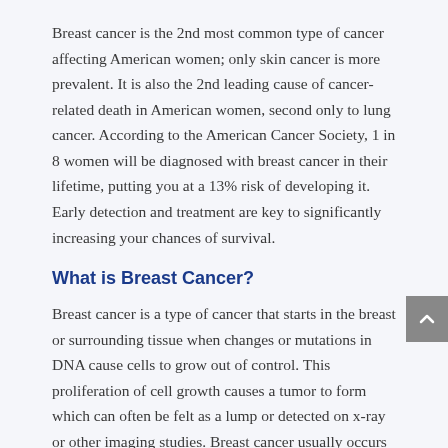Breast cancer is the 2nd most common type of cancer affecting American women; only skin cancer is more prevalent. It is also the 2nd leading cause of cancer-related death in American women, second only to lung cancer. According to the American Cancer Society, 1 in 8 women will be diagnosed with breast cancer in their lifetime, putting you at a 13% risk of developing it. Early detection and treatment are key to significantly increasing your chances of survival.
What is Breast Cancer?
Breast cancer is a type of cancer that starts in the breast or surrounding tissue when changes or mutations in DNA cause cells to grow out of control. This proliferation of cell growth causes a tumor to form which can often be felt as a lump or detected on x-ray or other imaging studies. Breast cancer usually occurs in women, but men can develop it as well.